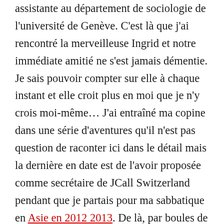assistante au département de sociologie de l'université de Genève. C'est là que j'ai rencontré la merveilleuse Ingrid et notre immédiate amitié ne s'est jamais démentie. Je sais pouvoir compter sur elle à chaque instant et elle croit plus en moi que je n'y crois moi-même… J'ai entraîné ma copine dans une série d'aventures qu'il n'est pas question de raconter ici dans le détail mais la dernière en date est de l'avoir proposée comme secrétaire de JCall Switzerland pendant que je partais pour ma sabbatique en Asie en 2012 2013. De là, par boules de neiges se sont adjoint d'autre d'amis dont le portrait suivra. C'est Ingrid que je continue à retrouver pour me